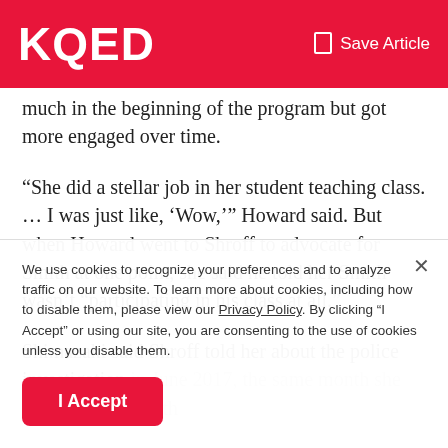KQED  Save Article
much in the beginning of the program but got more engaged over time.
“She did a stellar job in her student teaching class. … I was just like, ‘Wow,’” Howard said. But when Howard went to Shroff to advocate for Smith at one point, she said he told her Smith wasn’t “participating in his class at all.”
Shimazaki said Shroff told her about the police investigation in June 2017, the same month she said she spoke with…
We use cookies to recognize your preferences and to analyze traffic on our website. To learn more about cookies, including how to disable them, please view our Privacy Policy. By clicking “I Accept” or using our site, you are consenting to the use of cookies unless you disable them.
I Accept